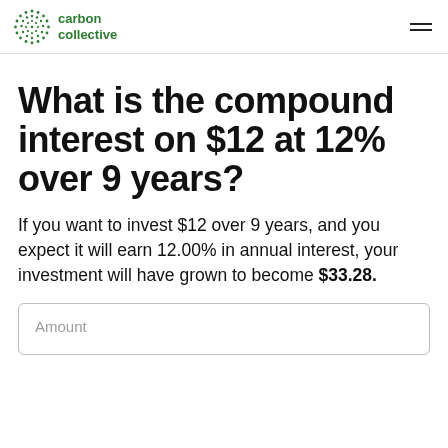carbon collective
What is the compound interest on $12 at 12% over 9 years?
If you want to invest $12 over 9 years, and you expect it will earn 12.00% in annual interest, your investment will have grown to become $33.28.